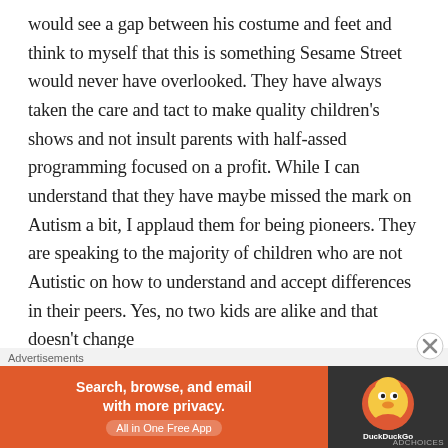would see a gap between his costume and feet and think to myself that this is something Sesame Street would never have overlooked. They have always taken the care and tact to make quality children's shows and not insult parents with half-assed programming focused on a profit. While I can understand that they have maybe missed the mark on Autism a bit, I applaud them for being pioneers. They are speaking to the majority of children who are not Autistic on how to understand and accept differences in their peers. Yes, no two kids are alike and that doesn't change
Advertisements
[Figure (screenshot): DuckDuckGo advertisement banner with orange left panel reading 'Search, browse, and email with more privacy. All in One Free App' and dark right panel with DuckDuckGo logo.]